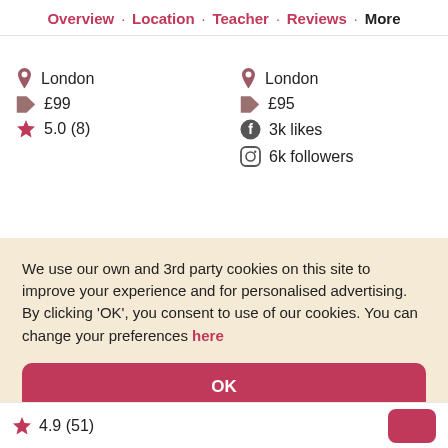Overview · Location · Teacher · Reviews · More
London   |   £99   |   ★ 5.0 (8)
London   |   £95   |   3k likes   |   6k followers
We use our own and 3rd party cookies on this site to improve your experience and for personalised advertising. By clicking 'OK', you consent to use of our cookies. You can change your preferences here
OK
★ 4.9 (51)